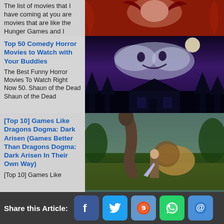The list of movies that I have coming at you are movies that are like the Hunger Games and I
[Figure (photo): Close-up of woman with red fiery hair and dramatic lighting]
Top 50 Comedy Horror Movies to Watch with Your Buddies
The Best Funny Horror Movies To Watch Right Now 50. Shaun of the Dead Shaun of the Dead
[Figure (photo): Ghostly face in clouds above a haunted house at night]
[Top 10] Games Like Dragons Dogma: Dark Arisen (Games Better Than Dragons Dogma: Dark Arisen In Their Own Way)
[Top 10] Games Like
[Figure (photo): Fantasy game scene with a lion-like creature and a character fighting outdoors]
[Top 10] Dragons Dogma: Dark Arisen Best Builds
[Top 10] Dragons Dogma: Dark Arisen Best Builds   Dragon's Dogma is a game with
[Figure (photo): Fantasy game scene with a character and a large winged creature]
Share this Article: [Facebook] [Twitter] [Reddit] [WhatsApp] [Email]